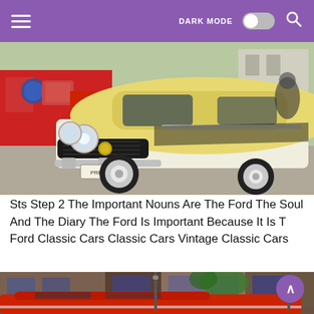DARK MODE [toggle] [search]
[Figure (photo): A yellow and white vintage classic Ford car photographed from the front-left, parked in a gravel lot with a red vehicle visible in the background.]
Sts Step 2 The Important Nouns Are The Ford The Soul And The Diary The Ford Is Important Because It Is T Ford Classic Cars Classic Cars Vintage Classic Cars
[Figure (photo): A red classic car parked in front of shops on a street, partially visible at the bottom of the page.]